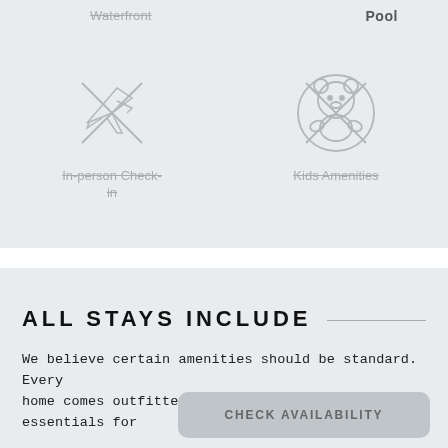Waterfront
Pool
[Figure (illustration): Strikethrough icon of an airplane/check-in desk with an X overlay]
In-person Check-in
[Figure (illustration): Strikethrough icon of a teddy bear with an X overlay]
Kids Amenities
ALL STAYS INCLUDE
We believe certain amenities should be standard. Every home comes outfitted with these best-in-class essentials for
CHECK AVAILABILITY